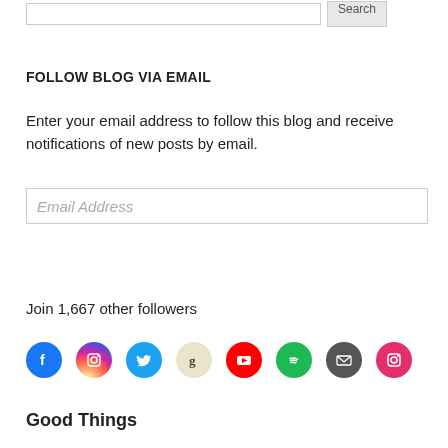[Figure (screenshot): Search input field with Search button at top]
FOLLOW BLOG VIA EMAIL
Enter your email address to follow this blog and receive notifications of new posts by email.
[Figure (screenshot): Email Address input field]
[Figure (screenshot): Follow button]
Join 1,667 other followers
[Figure (screenshot): Social media icons: Facebook, Instagram, Twitter, Goodreads, YouTube, Spotify, Email, Instagram]
Good Things